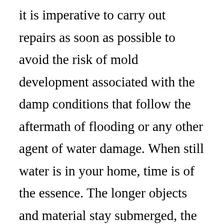it is imperative to carry out repairs as soon as possible to avoid the risk of mold development associated with the damp conditions that follow the aftermath of flooding or any other agent of water damage. When still water is in your home, time is of the essence. The longer objects and material stay submerged, the higher the risk of mold development and the more expensive the repair is likely to be. Usually, it is advisable to ensure that furniture does not remain